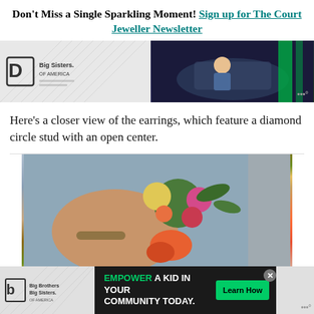Don't Miss a Single Sparkling Moment! Sign up for The Court Jeweller Newsletter
[Figure (infographic): Advertisement banner featuring Big Sisters of America logo on the left half (gray background with watermark pattern) and a karting/racing photo on the right half (dark background)]
Here's a closer view of the earrings, which feature a diamond circle stud with an open center.
[Figure (photo): Close-up photo of a hand holding colorful flowers including orange, pink, and yellow blooms with green leaves, wearing a bracelet. Bluish-gray background visible.]
[Figure (infographic): Advertisement banner at bottom: Big Brothers Big Sisters of America logo on left, center dark panel reading 'EMPOWER A KID IN YOUR COMMUNITY TODAY.' with green Learn How button, X close button, and weather widget on right.]